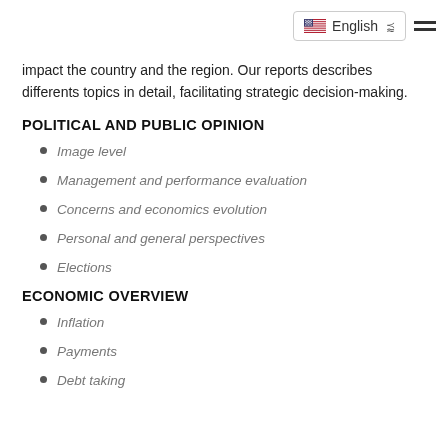English
impact the country and the region. Our reports describes differents topics in detail, facilitating strategic decision-making.
POLITICAL AND PUBLIC OPINION
Image level
Management and performance evaluation
Concerns and economics evolution
Personal and general perspectives
Elections
ECONOMIC OVERVIEW
Inflation
Payments
Debt taking